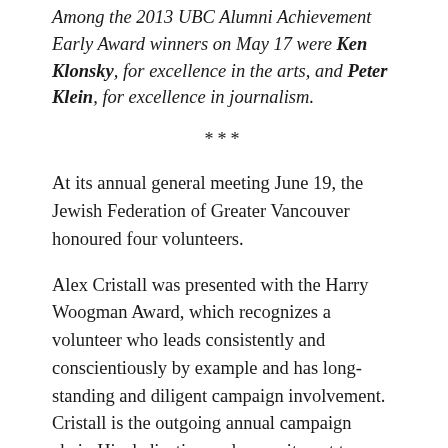Among the 2013 UBC Alumni Achievement Early Award winners on May 17 were Ken Klonsky, for excellence in the arts, and Peter Klein, for excellence in journalism.
***
At its annual general meeting June 19, the Jewish Federation of Greater Vancouver honoured four volunteers.
Alex Cristall was presented with the Harry Woogman Award, which recognizes a volunteer who leads consistently and conscientiously by example and has long-standing and diligent campaign involvement. Cristall is the outgoing annual campaign chair. His dedication and commitment to leadership excellence has made an enormous impact on Federation and the community at large.